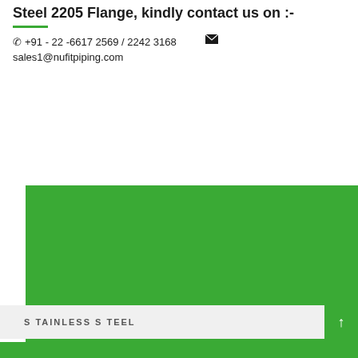Steel 2205 Flange, kindly contact us on :-
☎ +91 - 22 -6617 2569 / 2242 3168   ✉   sales1@nufitpiping.com
[Figure (photo): Large green rectangular box with 'FLANGE' label in white uppercase text at bottom left]
STAINLESS STEEL